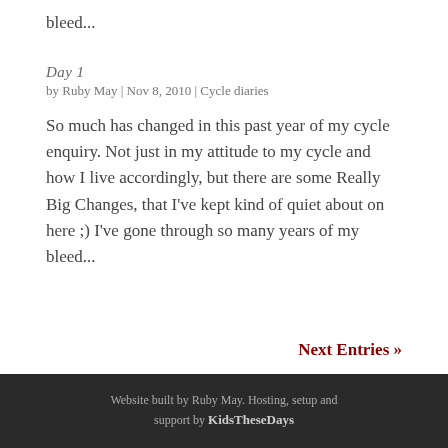bleed...
Day 1
by Ruby May | Nov 8, 2010 | Cycle diaries
So much has changed in this past year of my cycle enquiry. Not just in my attitude to my cycle and how I live accordingly, but there are some Really Big Changes, that I've kept kind of quiet about on here ;) I've gone through so many years of my bleed...
Next Entries »
Website built by Ruby May. Hosting, setup and support by KidsTheseDays